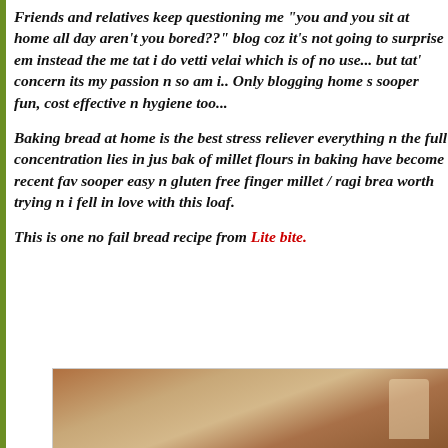Friends and relatives keep questioning me "you and you sit at home all day aren't you bored??" blog coz it's not going to surprise em instead the me tat i do vetti velai which is of no use... but tat' concern its my passion n so am i.. Only blogging home s sooper fun, cost effective n hygiene too...
Baking bread at home is the best stress reliever everything n the full concentration lies in jus bak of millet flours in baking have become recent fav sooper easy n gluten free finger millet / ragi brea worth trying n i fell in love with this loaf.
This is one no fail bread recipe from Lite bite.
[Figure (photo): Partial photo of a bread loaf or baked good in a container, warm brown tones]